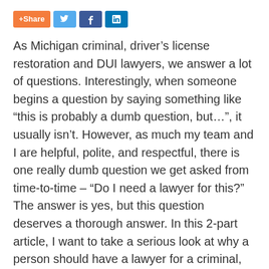[Figure (other): Social share buttons: +Share (orange), Twitter bird icon (light blue), Facebook f icon (dark blue), LinkedIn in icon (blue)]
As Michigan criminal, driver’s license restoration and DUI lawyers, we answer a lot of questions. Interestingly, when someone begins a question by saying something like “this is probably a dumb question, but…”, it usually isn’t. However, as much my team and I are helpful, polite, and respectful, there is one really dumb question we get asked from time-to-time – “Do I need a lawyer for this?” The answer is yes, but this question deserves a thorough answer. In this 2-part article, I want to take a serious look at why a person should have a lawyer for a criminal, driver’s license restoration, or DUI case.